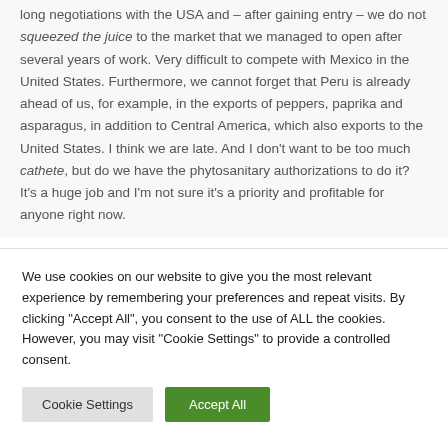long negotiations with the USA and – after gaining entry – we do not squeezed the juice to the market that we managed to open after several years of work. Very difficult to compete with Mexico in the United States. Furthermore, we cannot forget that Peru is already ahead of us, for example, in the exports of peppers, paprika and asparagus, in addition to Central America, which also exports to the United States. I think we are late. And I don't want to be too much cathete, but do we have the phytosanitary authorizations to do it? It's a huge job and I'm not sure it's a priority and profitable for anyone right now.
We use cookies on our website to give you the most relevant experience by remembering your preferences and repeat visits. By clicking "Accept All", you consent to the use of ALL the cookies. However, you may visit "Cookie Settings" to provide a controlled consent.